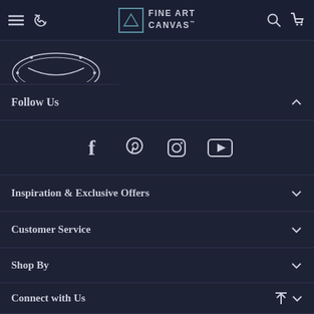Fine Art Canvas navigation bar
[Figure (logo): Fine Art Canvas logo with geometric triangle/pyramid icon and brand name]
[Figure (illustration): Partial decorative badge/seal icon at top of page]
Follow Us
[Figure (illustration): Social media icons: Facebook, Pinterest, Instagram, YouTube]
Inspiration & Exclusive Offers
Customer Service
Shop By
Connect with Us